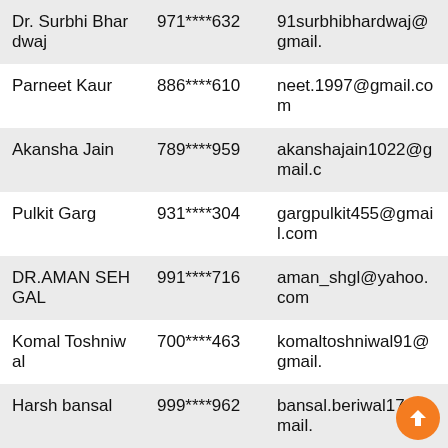| Name | Phone | Email |
| --- | --- | --- |
| Dr. Surbhi Bhardwaj | 971****632 | 91surbhibhardwaj@gmail.com |
| Parneet Kaur | 886****610 | neet.1997@gmail.com |
| Akansha Jain | 789****959 | akanshajain1022@gmail.com |
| Pulkit Garg | 931****304 | gargpulkit455@gmail.com |
| DR.AMAN SEHGAL | 991****716 | aman_shgl@yahoo.com |
| Komal Toshniwal | 700****463 | komaltoshniwal91@gmail.com |
| Harsh bansal | 999****962 | bansal.beriwal17@gmail.com |